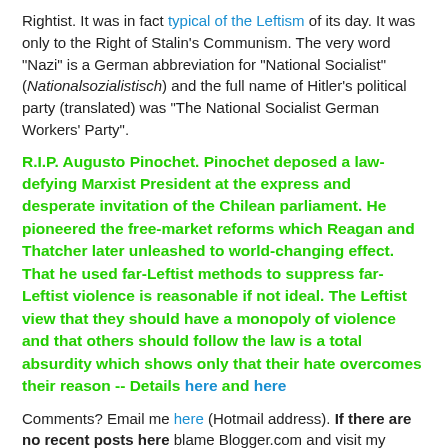Rightist. It was in fact typical of the Leftism of its day. It was only to the Right of Stalin's Communism. The very word "Nazi" is a German abbreviation for "National Socialist" (Nationalsozialistisch) and the full name of Hitler's political party (translated) was "The National Socialist German Workers' Party".
R.I.P. Augusto Pinochet. Pinochet deposed a law-defying Marxist President at the express and desperate invitation of the Chilean parliament. He pioneered the free-market reforms which Reagan and Thatcher later unleashed to world-changing effect. That he used far-Leftist methods to suppress far-Leftist violence is reasonable if not ideal. The Leftist view that they should have a monopoly of violence and that others should follow the law is a total absurdity which shows only that their hate overcomes their reason -- Details here and here
Comments? Email me here (Hotmail address). If there are no recent posts here blame Blogger.com and visit my mirror site here or here. My Home Pages are here or here